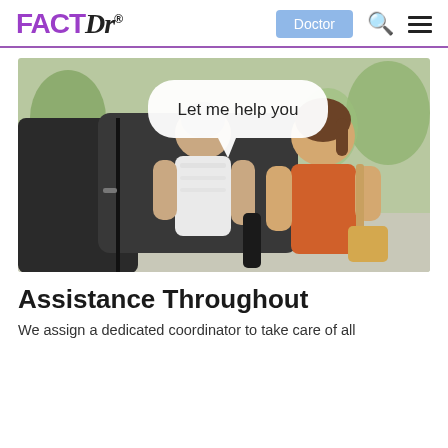FACTDr® — Doctor
[Figure (photo): A younger woman in an orange top helping an elderly woman in a white lace top get into or out of a car, with a speech bubble saying 'Let me help you']
Assistance Throughout
We assign a dedicated coordinator to take care of all